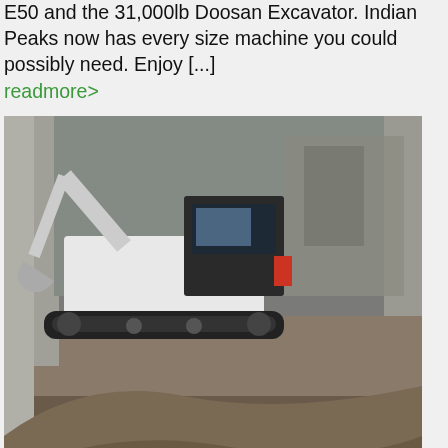E50 and the 31,000lb Doosan Excavator. Indian Peaks now has every size machine you could possibly need. Enjoy [...]
readmore>
[Figure (photo): Bobcat mini-excavator (E50) working in a trench dug into dirt/rock, with concrete structures visible in the background. The machine is white with a black cab.]
Mini-Excavator E50 – Bobcat
Note: In this class we have both E50 minimal tail swing and 435 zero tail swing machines. All models have switchable controls and hydraulic thumbs. We will strive to accommodate your machine preference. The E50 and its 435 cousin, makes lifting heavier loads simpler with its minimal tail swing action with less than an inch [...]
readmore>
[Figure (photo): Partial view of another excavator machine, showing the boom/arm and part of the undercarriage, with green foliage visible in the background.]